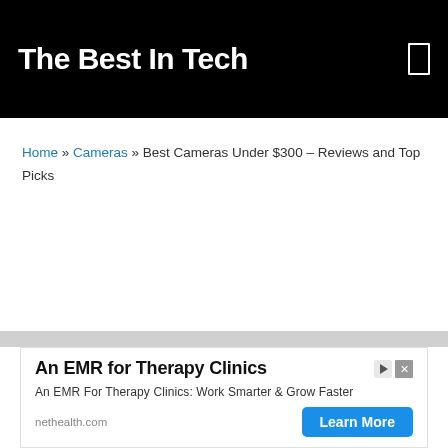The Best In Tech
Home » Cameras » Best Cameras Under $300 – Reviews and Top Picks
An EMR for Therapy Clinics
An EMR For Therapy Clinics: Work Smarter & Grow Faster
nethealth.com
Learn More